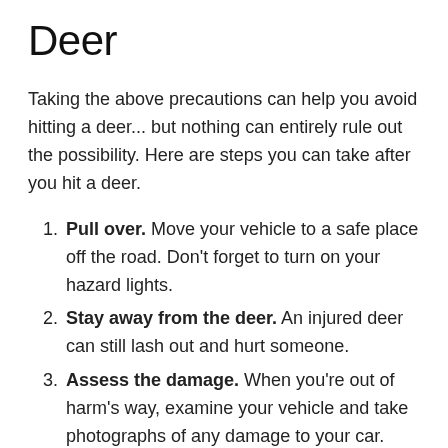Deer
Taking the above precautions can help you avoid hitting a deer... but nothing can entirely rule out the possibility. Here are steps you can take after you hit a deer.
Pull over. Move your vehicle to a safe place off the road. Don't forget to turn on your hazard lights.
Stay away from the deer. An injured deer can still lash out and hurt someone.
Assess the damage. When you're out of harm's way, examine your vehicle and take photographs of any damage to your car. Use good judgement to know if your car is safe to